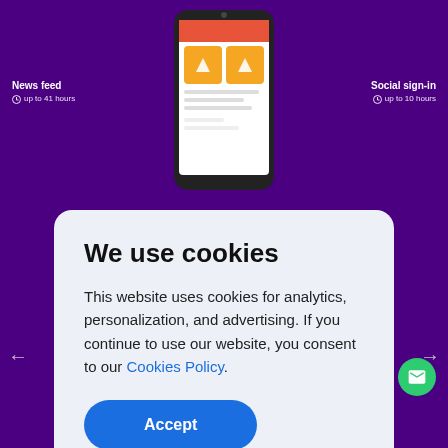[Figure (screenshot): Website screenshot showing a purple background with a smartphone mockup in the center top area. On the left side label: 'News feed' with 'up to 41 hours'. On the right side label: 'Social sign-in' with 'up to 10 hours'. A cookie consent modal overlays the center.]
News feed
⏱ up to 41 hours
Social sign-in
⏱ up to 10 hours
We use cookies
This website uses cookies for analytics, personalization, and advertising. If you continue to use our website, you consent to our Cookies Policy.
Accept